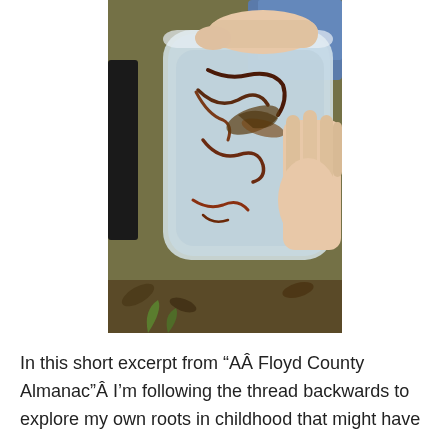[Figure (photo): Hands holding a clear plastic container with small salamanders or lizards and leaf debris inside, set against an outdoor background of leaves and vegetation.]
In this short excerpt from “AÂ Floyd County Almanac"Â I’m following the thread backwards to explore my own roots in childhood that might have